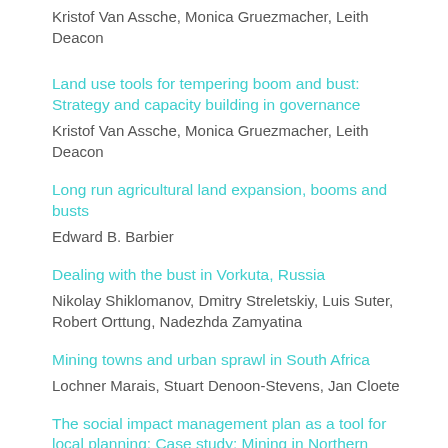Kristof Van Assche, Monica Gruezmacher, Leith Deacon
Land use tools for tempering boom and bust: Strategy and capacity building in governance
Kristof Van Assche, Monica Gruezmacher, Leith Deacon
Long run agricultural land expansion, booms and busts
Edward B. Barbier
Dealing with the bust in Vorkuta, Russia
Nikolay Shiklomanov, Dmitry Streletskiy, Luis Suter, Robert Orttung, Nadezhda Zamyatina
Mining towns and urban sprawl in South Africa
Lochner Marais, Stuart Denoon-Stevens, Jan Cloete
The social impact management plan as a tool for local planning: Case study: Mining in Northern Finland
Leena Suopajärvi, Anna Kantola